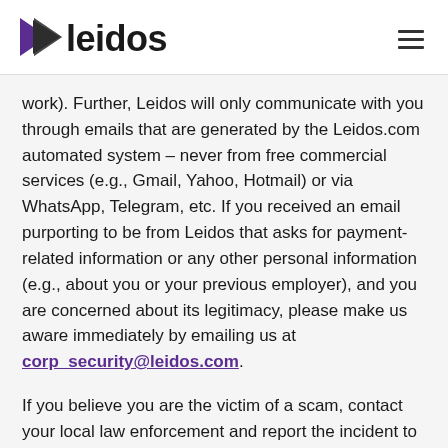leidos
work). Further, Leidos will only communicate with you through emails that are generated by the Leidos.com automated system – never from free commercial services (e.g., Gmail, Yahoo, Hotmail) or via WhatsApp, Telegram, etc. If you received an email purporting to be from Leidos that asks for payment-related information or any other personal information (e.g., about you or your previous employer), and you are concerned about its legitimacy, please make us aware immediately by emailing us at corp_security@leidos.com.
If you believe you are the victim of a scam, contact your local law enforcement and report the incident to the U.S. Federal Trade Commission.